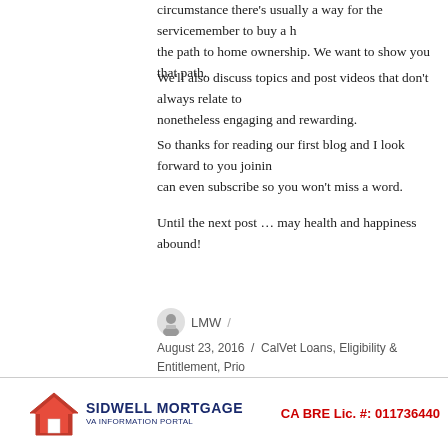circumstance there's usually a way for the servicemember to buy a home. the path to home ownership. We want to show you that path.
We'll also discuss topics and post videos that don't always relate to nonetheless engaging and rewarding.
So thanks for reading our first blog and I look forward to you joining can even subscribe so you won't miss a word.
Until the next post … may health and happiness abound!
LMW / August 23, 2016 / CalVet Loans, Eligibility & Entitlement, Prio Types/Requirements, Refinancing, Uncategorized, VA Cred comment
SIDWELL MORTGAGE VA INFORMATION PORTAL | CA BRE Lic. #: 011736440